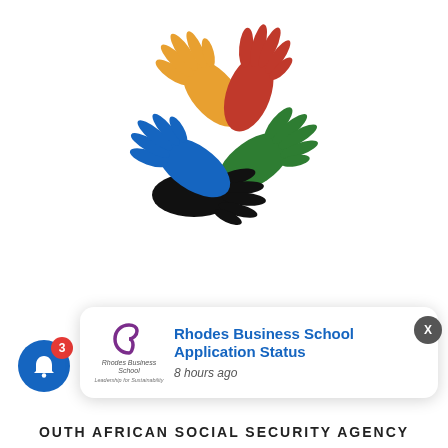[Figure (logo): SASSA logo: five colorful handprints (yellow, red, green, blue, black) arranged in a fan/circle pattern on white background]
sassa
SOUTH AFRICAN SOCIAL SECURITY AGENCY
[Figure (screenshot): Mobile notification popup showing Rhodes Business School logo and text: 'Rhodes Business School Application Status' with '8 hours ago' timestamp, with an X close button and a blue notification bell icon with badge showing 3]
Rhodes Business School Application Status
8 hours ago